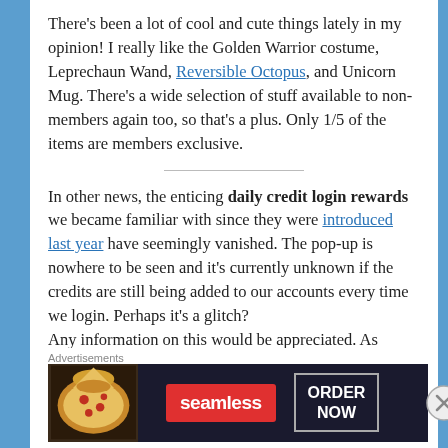There's been a lot of cool and cute things lately in my opinion! I really like the Golden Warrior costume, Leprechaun Wand, Reversible Octopus, and Unicorn Mug. There's a wide selection of stuff available to non-members again too, so that's a plus. Only 1/5 of the items are members exclusive.
In other news, the enticing daily credit login rewards we became familiar with since they were introduced last year have seemingly vanished. The pop-up is nowhere to be seen and it's currently unknown if the credits are still being added to our accounts every time we login. Perhaps it's a glitch? Any information on this would be appreciated. As
[Figure (infographic): Seamless food delivery advertisement banner with pizza image on left, Seamless logo in red, and ORDER NOW button on right against dark background]